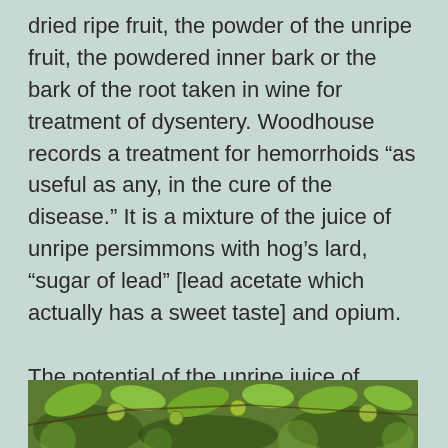dried ripe fruit, the powder of the unripe fruit, the powdered inner bark or the bark of the root taken in wine for treatment of dysentery. Woodhouse records a treatment for hemorrhoids “as useful as any, in the cure of the disease.” It is a mixture of the juice of unripe persimmons with hog’s lard, “sugar of lead” [lead acetate which actually has a sweet taste] and opium.

The potential of the unripe juice of persimmons in tanning leathers excited Thomas Jefferson. Woodhouse suggested that three
[Figure (photo): Close-up photograph of green persimmon fruits and leaves on a branch]